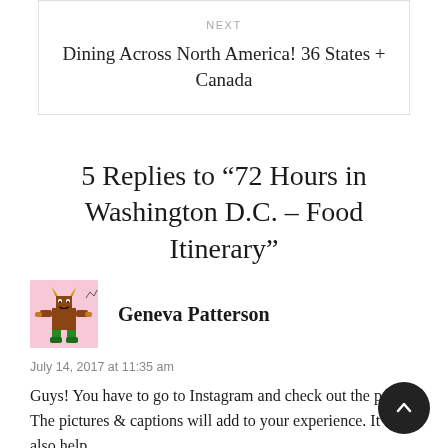NEXT
Dining Across North America! 36 States + Canada
5 Replies to “72 Hours in Washington D.C. – Food Itinerary”
[Figure (illustration): Avatar illustration of a cartoon monster character in brown and green on a pink background]
Geneva Patterson
July 14, 2017 at 11:35 am
Guys! You have to go to Instagram and check out the posts. The pictures & captions will add to your experience. It will also help